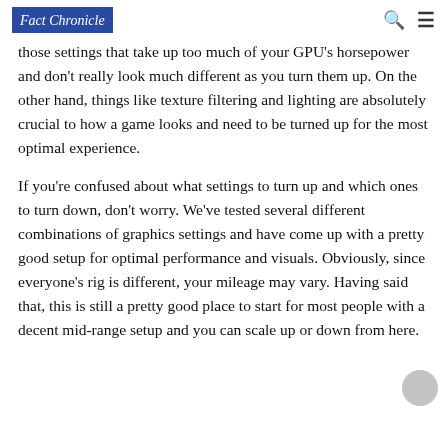Fact Chronicle
those settings that take up too much of your GPU's horsepower and don't really look much different as you turn them up. On the other hand, things like texture filtering and lighting are absolutely crucial to how a game looks and need to be turned up for the most optimal experience.
If you're confused about what settings to turn up and which ones to turn down, don't worry. We've tested several different combinations of graphics settings and have come up with a pretty good setup for optimal performance and visuals. Obviously, since everyone's rig is different, your mileage may vary. Having said that, this is still a pretty good place to start for most people with a decent mid-range setup and you can scale up or down from here.